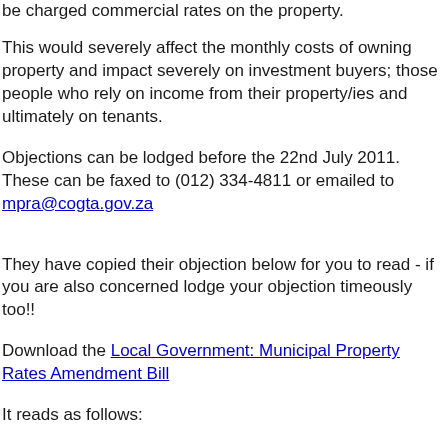be charged commercial rates on the property.
This would severely affect the monthly costs of owning property and impact severely on investment buyers; those people who rely on income from their property/ies and ultimately on tenants.
Objections can be lodged before the 22nd July 2011. These can be faxed to (012) 334-4811 or emailed to mpra@cogta.gov.za
They have copied their objection below for you to read - if you are also concerned lodge your objection timeously too!!
Download the Local Government: Municipal Property Rates Amendment Bill
It reads as follows: